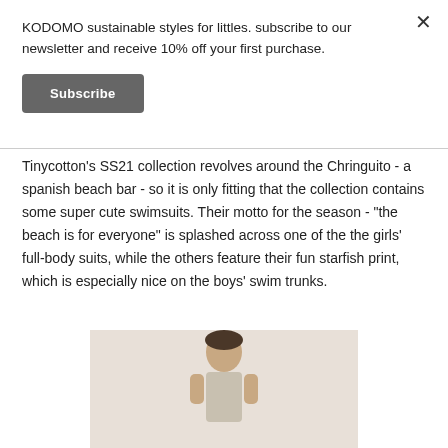KODOMO sustainable styles for littles. subscribe to our newsletter and receive 10% off your first purchase.
Subscribe
Tinycotton's SS21 collection revolves around the Chringuito - a spanish beach bar - so it is only fitting that the collection contains some super cute swimsuits. Their motto for the season - "the beach is for everyone" is splashed across one of the the girls' full-body suits, while the others feature their fun starfish print, which is especially nice on the boys' swim trunks.
[Figure (photo): Child wearing swimwear, standing against a light beige/cream background]